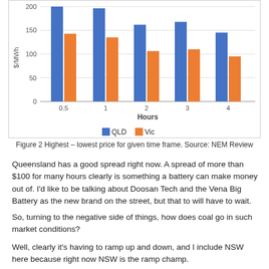[Figure (grouped-bar-chart): ]
Figure 2 Highest – lowest price for given time frame. Source: NEM Review
Queensland has a good spread right now. A spread of more than $100 for many hours clearly is something a battery can make money out of. I'd like to be talking about Doosan Tech and the Vena Big Battery as the new brand on the street, but that to will have to wait.
So, turning to the negative side of things, how does coal go in such market conditions?
Well, clearly it's having to ramp up and down, and I include NSW here because right now NSW is the ramp champ.